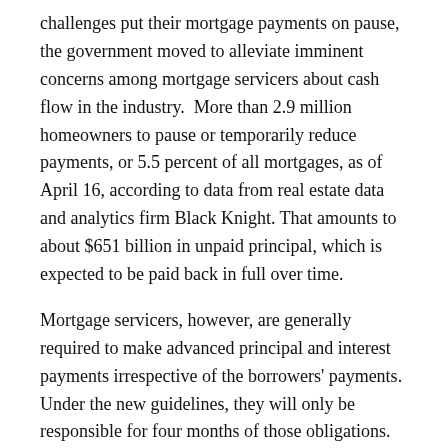challenges put their mortgage payments on pause, the government moved to alleviate imminent concerns among mortgage servicers about cash flow in the industry. More than 2.9 million homeowners to pause or temporarily reduce payments, or 5.5 percent of all mortgages, as of April 16, according to data from real estate data and analytics firm Black Knight. That amounts to about $651 billion in unpaid principal, which is expected to be paid back in full over time.
Mortgage servicers, however, are generally required to make advanced principal and interest payments irrespective of the borrowers' payments. Under the new guidelines, they will only be responsible for four months of those obligations.
CORONAVIRUS RELIEF IS NOT HELPING RESTAURANTS, INDUSTRY WARNS
Forbearances were part of the multitrillion-dollar stimulus